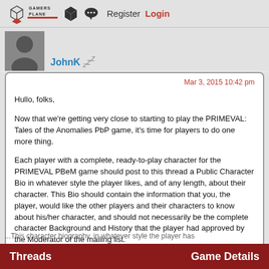Gamers Plane — Register Login
JohnK zzZ
Mar 3, 2015 10:42 pm
Hullo, folks,

Now that we're getting very close to starting to play the PRIMEVAL: Tales of the Anomalies PbP game, it's time for players to do one more thing.

Each player with a complete, ready-to-play character for the PRIMEVAL PBeM game should post to this thread a Public Character Bio in whatever style the player likes, and of any length, about their character. This Bio should contain the information that you, the player, would like the other players and their characters to know about his/her character, and should not necessarily be the complete character Background and History that the player had approved by the Moderator of the mailing list.
Threads    Game Details